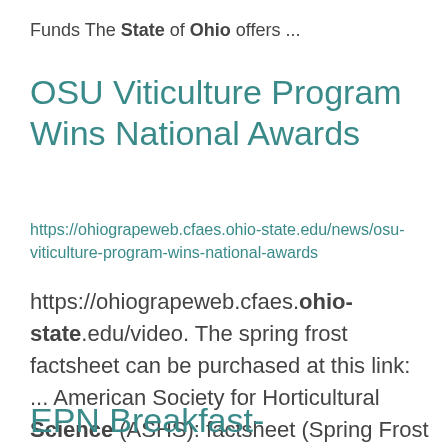Funds The State of Ohio offers ...
OSU Viticulture Program Wins National Awards
https://ohiograpeweb.cfaes.ohio-state.edu/news/osu-viticulture-program-wins-national-awards
https://ohiograpeweb.cfaes.ohio-state.edu/video. The spring frost factsheet can be purchased at this link: ... American Society for Horticultural Science (ASHS): factsheet (Spring Frost Injury of Grapevines and ...
EPN Breakfast- September 13,